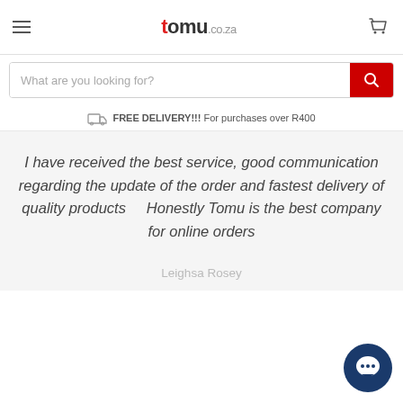tomu.co.za — hamburger menu, logo, cart icon
What are you looking for?
FREE DELIVERY!!! For purchases over R400
I have received the best service, good communication regarding the update of the order and fastest delivery of quality products    Honestly Tomu is the best company for online orders
Leighsa Rosey